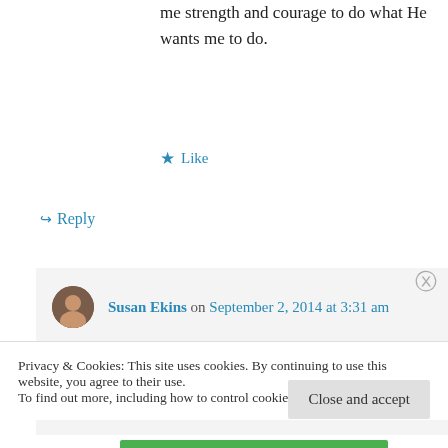me strength and courage to do what He wants me to do.
★ Like
↪ Reply
Susan Ekins on September 2, 2014 at 3:31 am
Joyce, many thanks for reblogging my post. I'm honored and grateful. Thank you also for sharing your experiences with us.
Privacy & Cookies: This site uses cookies. By continuing to use this website, you agree to their use.
To find out more, including how to control cookies, see here: Cookie Policy